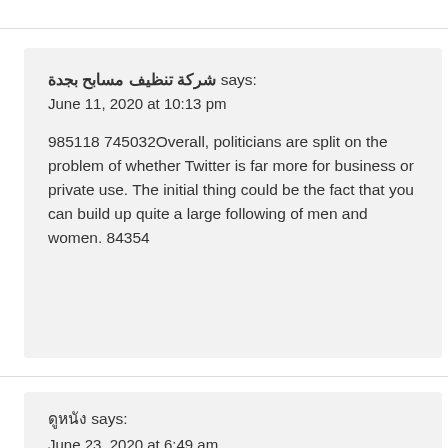شركة تنظيف مسابح بجدة says:
June 11, 2020 at 10:13 pm

985118 745032Overall, politicians are split on the problem of whether Twitter is far more for business or private use. The initial thing could be the fact that you can build up quite a large following of men and women. 84354
ดูหนัง says:
June 23, 2020 at 6:49 am